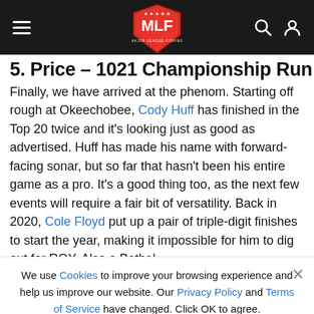MLF Major League Fishing navigation bar
5. Price – 1021 Championship Run
Finally, we have arrived at the phenom. Starting off rough at Okeechobee, Cody Huff has finished in the Top 20 twice and it's looking just as good as advertised. Huff has made his name with forward-facing sonar, but so far that hasn't been his entire game as a pro. It's a good thing too, as the next few events will require a fair bit of versatility. Back in 2020, Cole Floyd put up a pair of triple-digit finishes to start the year, making it impossible for him to dig out for ROY. Also a Bethel
We use Cookies to improve your browsing experience and help us improve our website. Our Privacy Policy and Terms of Service have changed. Click OK to agree.
[Figure (screenshot): OG SLIM 5 NEW Colors Rapala advertisement banner]